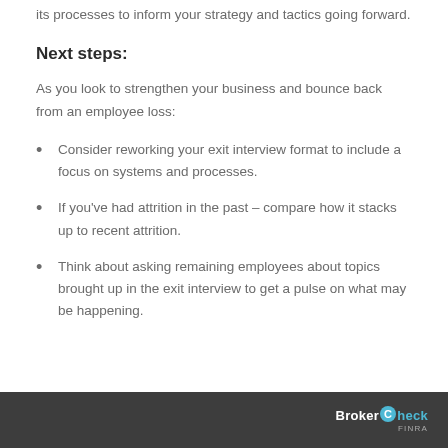its processes to inform your strategy and tactics going forward.
Next steps:
As you look to strengthen your business and bounce back from an employee loss:
Consider reworking your exit interview format to include a focus on systems and processes.
If you’ve had attrition in the past – compare how it stacks up to recent attrition.
Think about asking remaining employees about topics brought up in the exit interview to get a pulse on what may be happening.
BrokerCheck FINRA